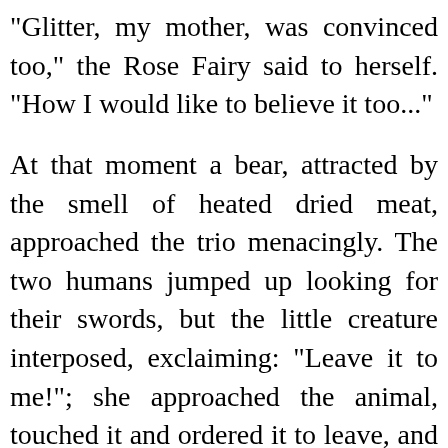"Glitter, my mother, was convinced too," the Rose Fairy said to herself. "How I would like to believe it too..."
At that moment a bear, attracted by the smell of heated dried meat, approached the trio menacingly. The two humans jumped up looking for their swords, but the little creature interposed, exclaiming: "Leave it to me!"; she approached the animal, touched it and ordered it to leave, and the beast gruntingly obeyed.
Two days later, the humans realised they had run out of supplies. "I'll take care of it," said Altea. She closed her eyes and invoked: "Fallow deer...